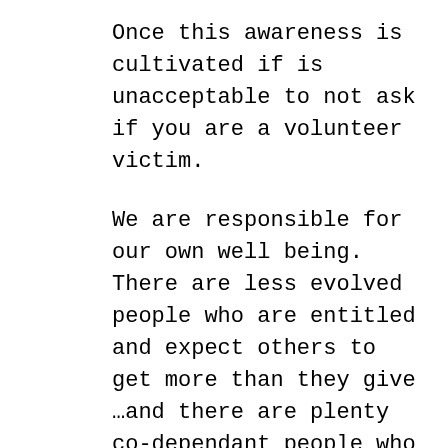Once this awareness is cultivated if is unacceptable to not ask if you are a volunteer victim.
We are responsible for our own well being. There are less evolved people who are entitled and expect others to get more than they give …and there are plenty co-dependant people who martyr themselves to earn love and acceptance. It is a sad reality that many wolves in sheep's clothing are veteran manipulators that view others as objects to meet their own selfish needs, and when the well is dry or the going gets tough, the carcass is picked clean …they discard . Vulnerable people want to believe what they are told… pay